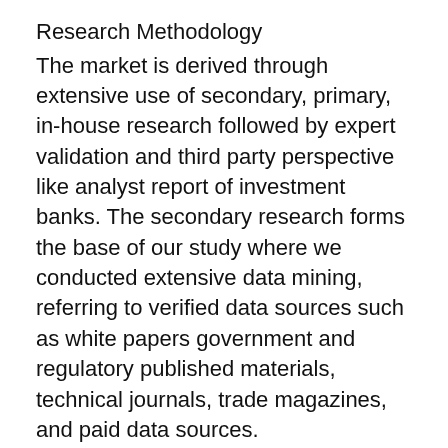Research Methodology
The market is derived through extensive use of secondary, primary, in-house research followed by expert validation and third party perspective like analyst report of investment banks. The secondary research forms the base of our study where we conducted extensive data mining, referring to verified data sources such as white papers government and regulatory published materials, technical journals, trade magazines, and paid data sources.
For forecasting, regional demand & supply factor, investment, market dynamics including technical scenario, consumer behavior, and end use industry trends and dynamics , capacity production, spending were taken into consideration.